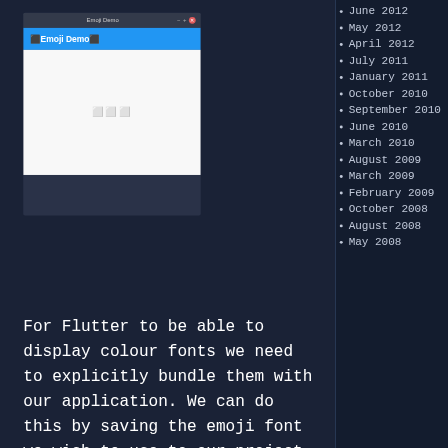[Figure (screenshot): A Flutter app window titled 'Emoji Demo' with a blue header bar showing '⬛ Emoji Demo ⬛' and a white content area with grey placeholder emoji characters in the center]
June 2012
May 2012
April 2012
July 2011
January 2011
October 2010
September 2010
June 2010
March 2010
August 2009
March 2009
February 2009
October 2008
August 2008
May 2008
For Flutter to be able to display colour fonts we need to explicitly bundle them with our application. We can do this by saving the emoji font we wish to use to our project directory. to keep things